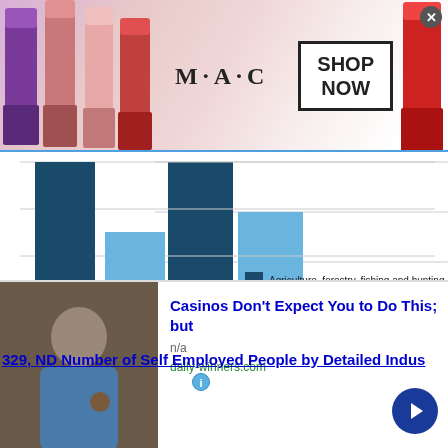[Figure (photo): MAC cosmetics advertisement banner showing lipsticks with 'SHOP NOW' button]
[Figure (bar-chart): Partial bar chart showing two bars, x-axis label 58329]
58329
58329, ND Number of Self Employed People by Detailed Industry
Agriculture, forestry, fishing and hunting, a...
Construction
Manufacturing
[Figure (photo): Advertisement: Casinos Don't Expect You to Do This; but — daily-winners.com]